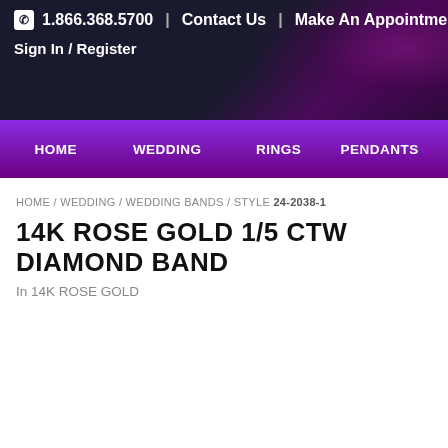📞 1.866.368.5700 | Contact Us | Make An Appointment
Sign In / Register
HOME | WEDDING | RINGS | PENDANTS
HOME / WEDDING / WEDDING BANDS / STYLE 24-2038-1
14K ROSE GOLD 1/5 CTW DIAMOND BAND
In 14K ROSE GOLD